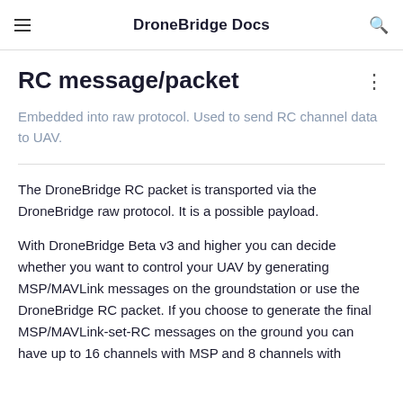DroneBridge Docs
RC message/packet
Embedded into raw protocol. Used to send RC channel data to UAV.
The DroneBridge RC packet is transported via the DroneBridge raw protocol. It is a possible payload.
With DroneBridge Beta v3 and higher you can decide whether you want to control your UAV by generating MSP/MAVLink messages on the groundstation or use the DroneBridge RC packet. If you choose to generate the final MSP/MAVLink-set-RC messages on the ground you can have up to 16 channels with MSP and 8 channels with